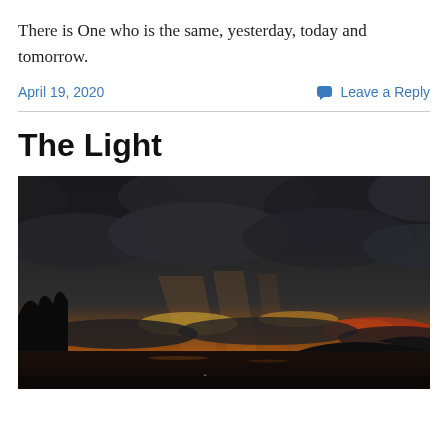There is One who is the same, yesterday, today and tomorrow.
April 19, 2020    Leave a Reply
The Light
[Figure (photo): A dramatic sunset photograph showing dark storm clouds over a body of water, with vivid orange and red light glowing on the horizon beneath the clouds.]